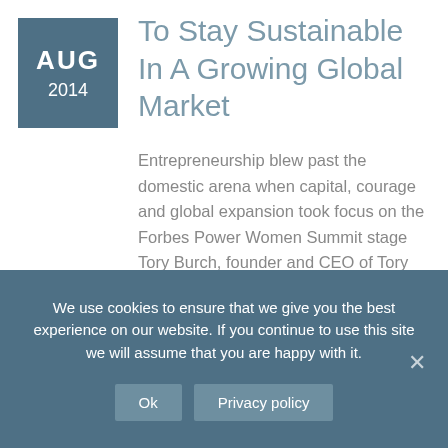AUG 2014
To Stay Sustainable In A Growing Global Market
Entrepreneurship blew past the domestic arena when capital, courage and global expansion took focus on the Forbes Power Women Summit stage Tory Burch, founder and CEO of Tory Burch, Theresia Gouw, founding partner....
We use cookies to ensure that we give you the best experience on our website. If you continue to use this site we will assume that you are happy with it.